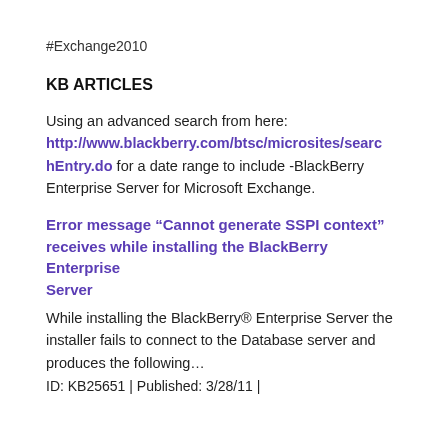#Exchange2010
KB ARTICLES
Using an advanced search from here: http://www.blackberry.com/btsc/microsites/searchEntry.do for a date range to include -BlackBerry Enterprise Server for Microsoft Exchange.
Error message “Cannot generate SSPI context” receives while installing the BlackBerry Enterprise Server
While installing the BlackBerry® Enterprise Server the installer fails to connect to the Database server and produces the following…
ID: KB25651 | Published: 3/28/11 |